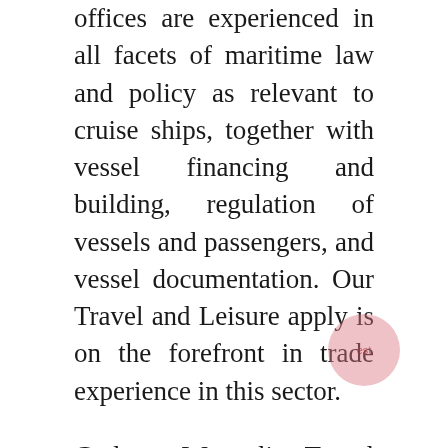offices are experienced in all facets of maritime law and policy as relevant to cruise ships, together with vessel financing and building, regulation of vessels and passengers, and vessel documentation. Our Travel and Leisure apply is on the forefront in trade experience in this sector.
Carlson Wagonlit Travel Indonesia is a U.S.-based travel company that shaped a three way partnership with Panorama Group to serve the Indonesian market. They are properly-recognized to have a worldwide presence in serving worldwide-based customers in Indonesia. CWT specializes in